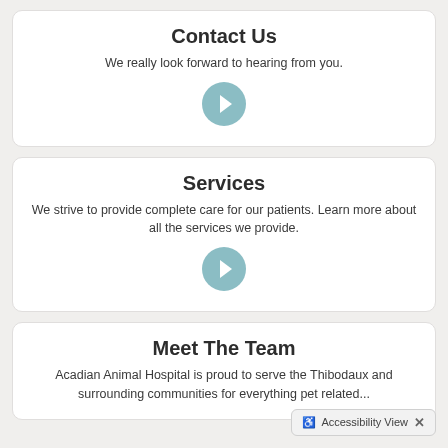Contact Us
We really look forward to hearing from you.
[Figure (illustration): Teal circular arrow button pointing right]
Services
We strive to provide complete care for our patients. Learn more about all the services we provide.
[Figure (illustration): Teal circular arrow button pointing right]
Meet The Team
Acadian Animal Hospital is proud to serve the Thibodaux and surrounding communities for everything pet related...
Accessibility View ×